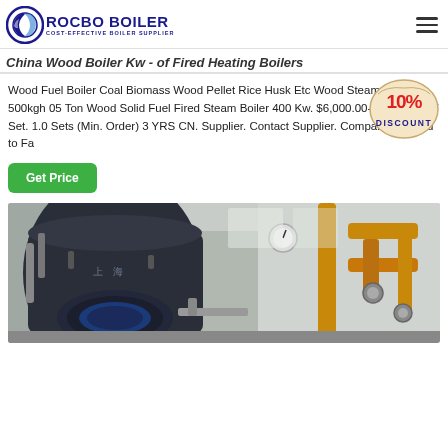ROCBO BOILER - COST-EFFECTIVE BOILER SUPPLIER
China Wood Boiler Kw - of Fired Heating Boilers
Wood Fuel Boiler Coal Biomass Wood Pellet Rice Husk Etc Wood Steam Boiler 500kgh 05 Ton Wood Solid Fuel Fired Steam Boiler 400 Kw. $6,000.00-$150,000.00/ Set. 1.0 Sets (Min. Order) 3 YRS CN. Supplier. Contact Supplier. Compare. Ad. Add to Fa
[Figure (other): 10% DISCOUNT badge/sticker in red and beige colors]
[Figure (photo): Industrial boiler room showing large dark cylindrical boiler on the left and yellow/orange pipe systems on the right inside a factory setting]